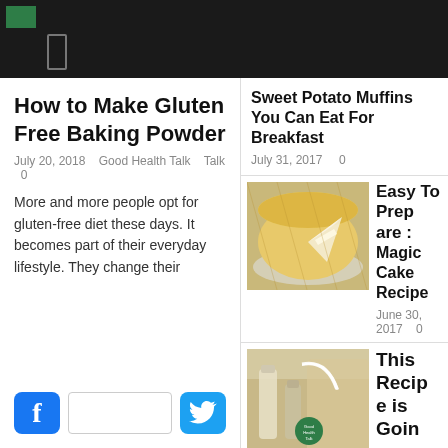How to Make Gluten Free Baking Powder
July 20, 2018    Good Health Talk    0
More and more people opt for gluten-free diet these days. It becomes part of their everyday lifestyle. They change their
Sweet Potato Muffins You Can Eat For Breakfast
July 31, 2017    0
[Figure (photo): A golden baked cheesecake or magic cake with a slice cut out, on a plate]
Easy To Prepare : Magic Cake Recipe
June 30, 2017    0
[Figure (photo): A glass of smoothie/milk drink with pouring liquid, possibly a smoothie recipe image with Good Health Talk logo]
This Recipe is Going Crazy in the World! Heal Your